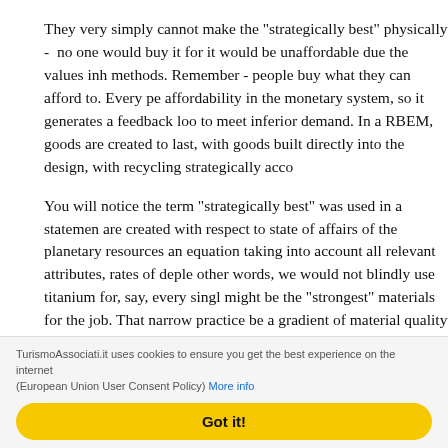They very simply cannot make the "strategically best" physically - no one would buy it for it would be unaffordable due the values inh methods. Remember - people buy what they can afford to. Every pe affordability in the monetary system, so it generates a feedback loo to meet inferior demand. In a RBEM, goods are created to last, with goods built directly into the design, with recycling strategically acco
You will notice the term "strategically best" was used in a statemen are created with respect to state of affairs of the planetary resources an equation taking into account all relevant attributes, rates of deple other words, we would not blindly use titanium for, say, every singl might be the "strongest" materials for the job. That narrow practice be a gradient of material quality which would be accessed through a comparable resources, rates of natural obsolescence for a given item These properties and relationships could be accessed through progr solution computed and output in real time. It is mere issue of calcu
F) A propensity for monopoly and cartel due to the basic motivatio is a point that economic theorists will often deny, under the assump
TurismoAssociati.it uses cookies to ensure you get the best experience on the internet (European Union User Consent Policy) More info
Got it!